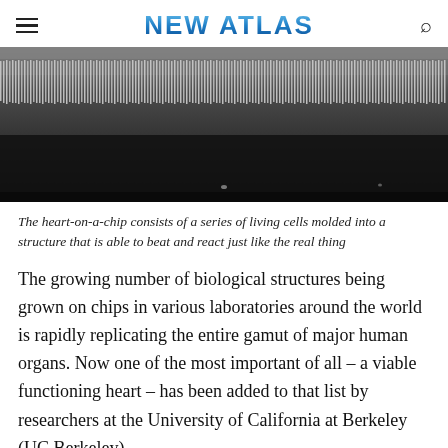NEW ATLAS
[Figure (photo): Close-up microscope/scanning electron image of a heart-on-a-chip device showing a dense array of tiny pillar-like structures arranged in rows, appearing in grayscale.]
The heart-on-a-chip consists of a series of living cells molded into a structure that is able to beat and react just like the real thing
The growing number of biological structures being grown on chips in various laboratories around the world is rapidly replicating the entire gamut of major human organs. Now one of the most important of all – a viable functioning heart – has been added to that list by researchers at the University of California at Berkeley (UC Berkeley)